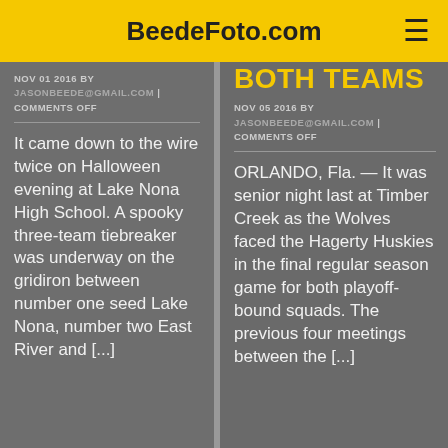BeedeFoto.com
NOV 01 2016 BY JASONBEEDE@GMAIL.COM | COMMENTS OFF
It came down to the wire twice on Halloween evening at Lake Nona High School. A spooky three-team tiebreaker was underway on the gridiron between number one seed Lake Nona, number two East River and [...]
BOTH TEAMS
NOV 05 2016 BY JASONBEEDE@GMAIL.COM | COMMENTS OFF
ORLANDO, Fla. — It was senior night last at Timber Creek as the Wolves faced the Hagerty Huskies in the final regular season game for both playoff-bound squads. The previous four meetings between the [...]